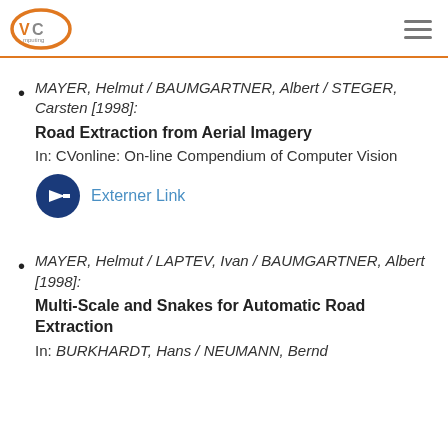VC Computing logo and navigation
MAYER, Helmut / BAUMGARTNER, Albert / STEGER, Carsten [1998]: Road Extraction from Aerial Imagery. In: CVonline: On-line Compendium of Computer Vision. [Externer Link]
MAYER, Helmut / LAPTEV, Ivan / BAUMGARTNER, Albert [1998]: Multi-Scale and Snakes for Automatic Road Extraction. In: BURKHARDT, Hans / NEUMANN, Bernd